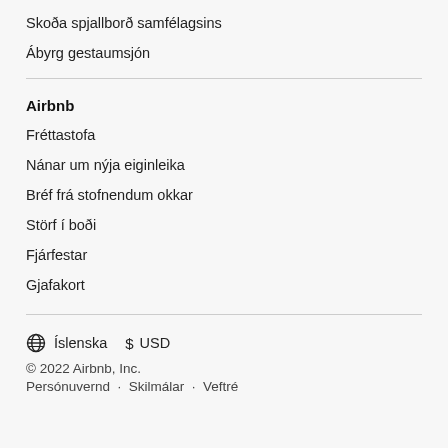Skoða spjallborð samfélagsins
Ábyrg gestaumsjón
Airbnb
Fréttastofa
Nánar um nýja eiginleika
Bréf frá stofnendum okkar
Störf í boði
Fjárfestar
Gjafakort
⊕ Íslenska   $ USD
© 2022 Airbnb, Inc.
Persónuvernd · Skilmálar · Veftré